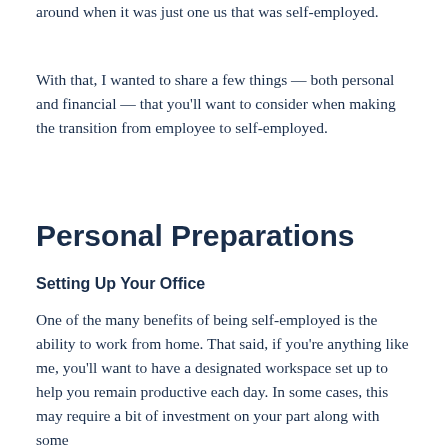around when it was just one us that was self-employed.
With that, I wanted to share a few things — both personal and financial — that you'll want to consider when making the transition from employee to self-employed.
Personal Preparations
Setting Up Your Office
One of the many benefits of being self-employed is the ability to work from home. That said, if you're anything like me, you'll want to have a designated workspace set up to help you remain productive each day. In some cases, this may require a bit of investment on your part along with some